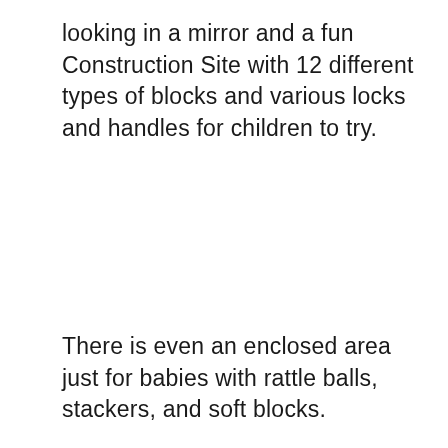looking in a mirror and a fun Construction Site with 12 different types of blocks and various locks and handles for children to try.
There is even an enclosed area just for babies with rattle balls, stackers, and soft blocks.